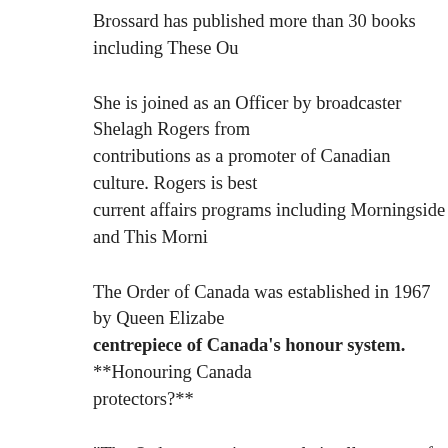Brossard has published more than 30 books including These Ou
She is joined as an Officer by broadcaster Shelagh Rogers from contributions as a promoter of Canadian culture. Rogers is best current affairs programs including Morningside and This Morni
The Order of Canada was established in 1967 by Queen Elizabe centrepiece of Canada's honour system. **Honouring Canada protectors?**
“The Order recognizes people in all sectors of Canadian society they have all enriched the lives of others and made a difference General’s release said.
http://www2.canada.com/calgaryherald/news/city/story.html?id= 510ac9fd60de
Gwyn Morgan – a road to the Order of Canada, When it was a that Gwyn Morgan had been named to the Order of Canada i